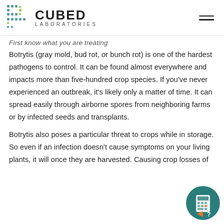CUBED LABORATORIES
First know what you are treating
Botrytis (gray mold, bud rot, or bunch rot) is one of the hardest pathogens to control. It can be found almost everywhere and impacts more than five-hundred crop species. If you've never experienced an outbreak, it's likely only a matter of time. It can spread easily through airborne spores from neighboring farms or by infected seeds and transplants.
Botrytis also poses a particular threat to crops while in storage. So even if an infection doesn't cause symptoms on your living plants, it will once they are harvested. Causing crop losses of